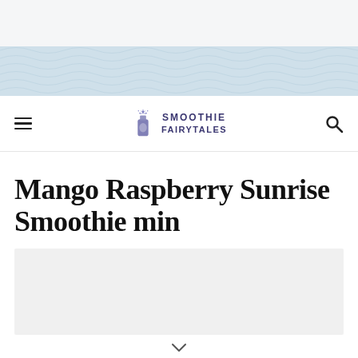[Figure (illustration): Top decorative banner area with light blue wavy pattern background]
Smoothie Fairytales — navigation bar with hamburger menu, logo, and search icon
Mango Raspberry Sunrise Smoothie min
[Figure (photo): Light gray image placeholder rectangle]